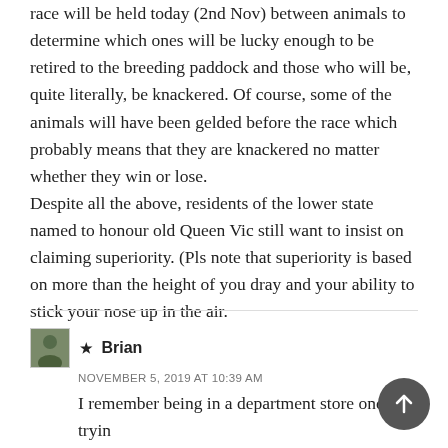race will be held today (2nd Nov) between animals to determine which ones will be lucky enough to be retired to the breeding paddock and those who will be, quite literally, be knackered. Of course, some of the animals will have been gelded before the race which probably means that they are knackered no matter whether they win or lose.
Despite all the above, residents of the lower state named to honour old Queen Vic still want to insist on claiming superiority. (Pls note that superiority is based on more than the height of you dray and your ability to stick your nose up in the air.
★ Brian
NOVEMBER 5, 2019 AT 10:39 AM
I remember being in a department store once, trying to buy something. Of course customer service was